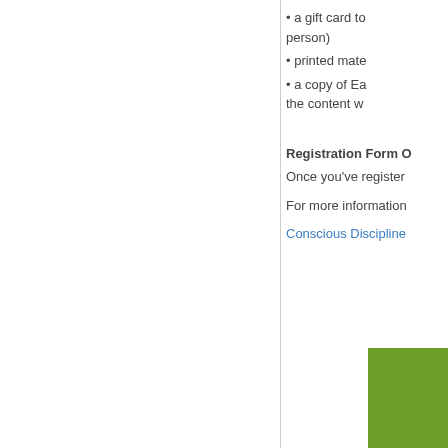• a gift card to person)
• printed mate
• a copy of Ea the content w
Registration Form O
Once you've register
For more information
Conscious Discipline